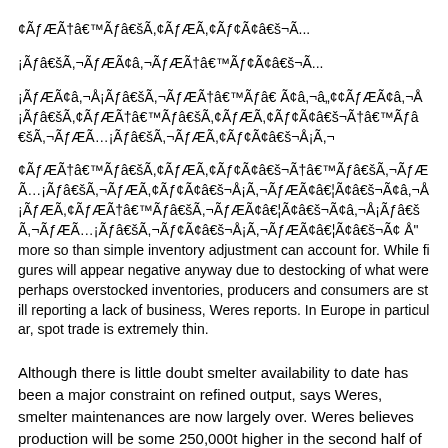¢ÃƒÆÃ†â€™Ãƒâ€šÃ,¢ÃƒÆÃ,¢Ãƒ¢Ã¢â€š¬Ã... ¡Ãƒâ€šÃ,¬ÃƒÆÃ¢â,¬ÃƒÆÃ†â€™Ãƒ¢Ã¢â€š¬Ã... ¡ÃƒÆÃ¢â,¬Å¡Ãƒâ€šÃ,¬ÃƒÆÃ†â€™Ãƒâ€ Ã¢â,¬â„¢¢ÃƒÆÃ¢â,¬Å¡Ãƒâ€šÃ,¢ÃƒÆÃ†â€™Ãƒâ€šÃ,¢ÃƒÆÃ,¢Ãƒ¢Ã¢â€š¬Ã†â€™Ãƒâ€šÃ,¬ÃƒÆÃ…¡Ãƒâ€šÃ,¬ÃƒÆÃ,¢Ãƒ¢Ã¢â€š¬Å¡Ã,¬ÃƒÆÃ¢â€¦Ã¢â€š¬Ã¢â,¬Å¡Ãƒâ€šÃ,¬Ãƒâ€šÃ,¬Ãƒ¢Ã¢â€š¬ÃƒÆÃ¢â,¬Å¡Ãƒ¢Ã¢â€š¬Å¡Ã,¬ÃƒÆÃ¢â€¦Ã¢â€š¬Ã¢â,¬Å"more so than simple inventory adjustment can account for. While figures will appear negative anyway due to destocking of what were perhaps overstocked inventories, producers and consumers are still reporting a lack of business, Weres reports. In Europe in particular, spot trade is extremely thin.
Although there is little doubt smelter availability to date has been a major constraint on refined output, says Weres, smelter maintenances are now largely over. Weres believes production will be some 250,000t higher in the second half of the year than it was in the first.
That said, there is no doubt stocks are low. Where is the copper? Perhaps a good oldfashioned squeeze is underway? Weres has